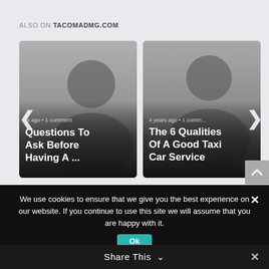ALSO ON TACOMADMG.COM
[Figure (screenshot): Card 1: Blog post thumbnail with person placeholder image, meta text showing '... rs ago • 1 comment', title 'Questions To Ask Before Having A ...']
[Figure (screenshot): Card 2: Blog post thumbnail with person placeholder image, meta text '4 years ago • 1 comm...', title 'The 6 Qualities Of A Good Taxi Car Service']
We use cookies to ensure that we give you the best experience on our website. If you continue to use this site we will assume that you are happy with it.
Ok
Share This